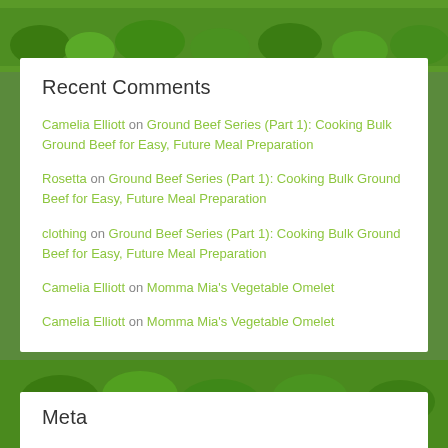[Figure (photo): Green garden/farm background image strip at top with trees and shrubs]
Recent Comments
Camelia Elliott on Ground Beef Series (Part 1): Cooking Bulk Ground Beef for Easy, Future Meal Preparation
Rosetta on Ground Beef Series (Part 1): Cooking Bulk Ground Beef for Easy, Future Meal Preparation
clothing on Ground Beef Series (Part 1): Cooking Bulk Ground Beef for Easy, Future Meal Preparation
Camelia Elliott on Momma Mia's Vegetable Omelet
Camelia Elliott on Momma Mia's Vegetable Omelet
Meta